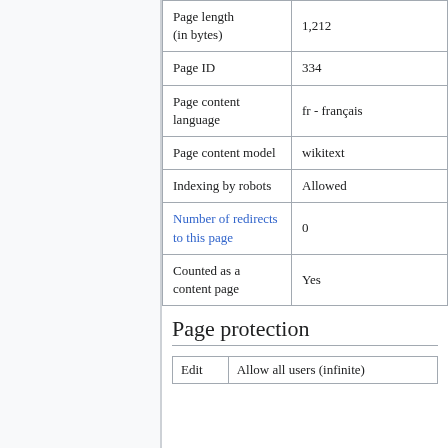| Property | Value |
| --- | --- |
| Page length (in bytes) | 1,212 |
| Page ID | 334 |
| Page content language | fr - français |
| Page content model | wikitext |
| Indexing by robots | Allowed |
| Number of redirects to this page | 0 |
| Counted as a content page | Yes |
Page protection
| Edit | Allow all users (infinite) |
| --- | --- |